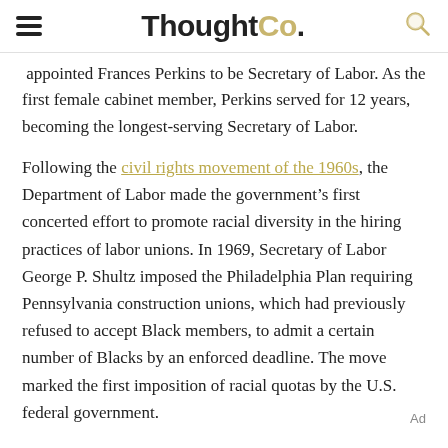ThoughtCo.
...appointed Frances Perkins to be Secretary of Labor. As the first female cabinet member, Perkins served for 12 years, becoming the longest-serving Secretary of Labor.
Following the civil rights movement of the 1960s, the Department of Labor made the government’s first concerted effort to promote racial diversity in the hiring practices of labor unions. In 1969, Secretary of Labor George P. Shultz imposed the Philadelphia Plan requiring Pennsylvania construction unions, which had previously refused to accept Black members, to admit a certain number of Blacks by an enforced deadline. The move marked the first imposition of racial quotas by the U.S. federal government.
Ad